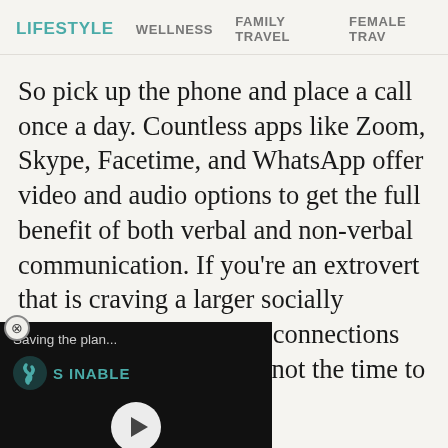LIFESTYLE   WELLNESS   FAMILY TRAVEL   FEMALE TRAV
So pick up the phone and place a call once a day. Countless apps like Zoom, Skype, Facetime, and WhatsApp offer video and audio options to get the full benefit of both verbal and non-verbal communication. If you're an extrovert that is craving a larger socially distanced scene, virtual connections are multiplying. This is not the time to e voices and faces, the
[Figure (screenshot): Video player overlay showing 'Saving the plan...' text, a logo with teal S icon and text 'SUSTAINABLE S...INABLE', a play button, and a teal progress bar at approximately 60% completion. Dark background, overlaid on article content.]